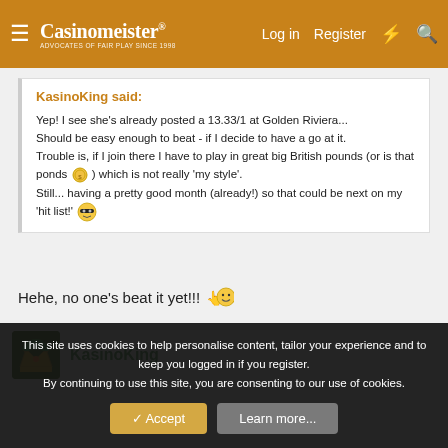Casinomeister® — Log in   Register
KasinoKing said:
Yep! I see she's already posted a 13.33/1 at Golden Riviera...
Should be easy enough to beat - if I decide to have a go at it.
Trouble is, if I join there I have to play in great big British pounds (or is that ponds 🌐 ) which is not really 'my style'.
Still... having a pretty good month (already!) so that could be next on my 'hit list!' 😎
Hehe, no one's beat it yet!!! 😉
KasinoKing
This site uses cookies to help personalise content, tailor your experience and to keep you logged in if you register.
By continuing to use this site, you are consenting to our use of cookies.